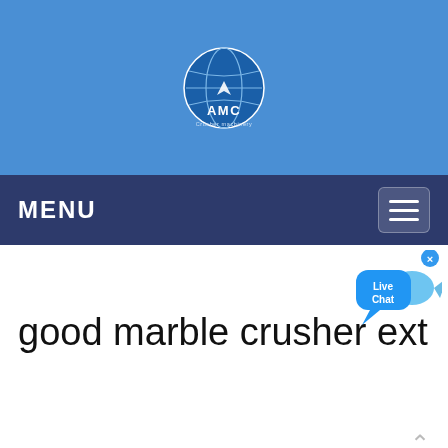[Figure (logo): AMC crusher logo with globe icon on blue header background]
MENU
[Figure (illustration): Live Chat speech bubble widget in top right corner]
good marble crusher ext